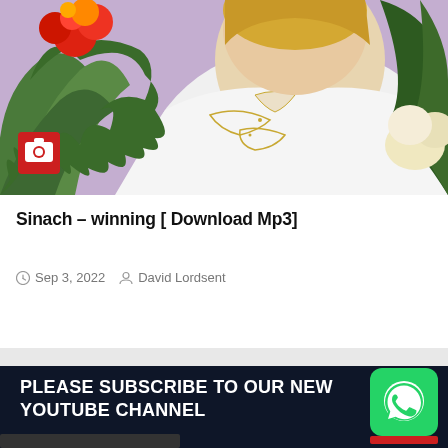[Figure (photo): A woman in a white ornate outfit with floral decorations (red and yellow flowers, green leaves) on a lavender/purple background. A red camera icon badge appears in the lower left of the image.]
Sinach – winning [ Download Mp3]
Sep 3, 2022   David Lordsent
PLEASE SUBSCRIBE TO OUR NEW YOUTUBE CHANNEL
[Figure (logo): WhatsApp green circular logo button with red bar at bottom]